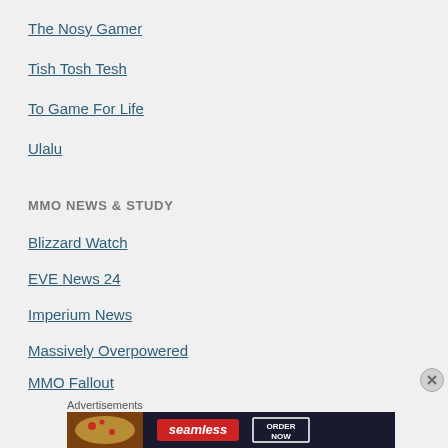The Nosy Gamer
Tish Tosh Tesh
To Game For Life
Ulalu
MMO NEWS & STUDY
Blizzard Watch
EVE News 24
Imperium News
Massively Overpowered
MMO Fallout
MMORPG.com
New Eden Post
Advertisements
[Figure (photo): Seamless food delivery advertisement banner showing pizza with Seamless logo and ORDER NOW button]